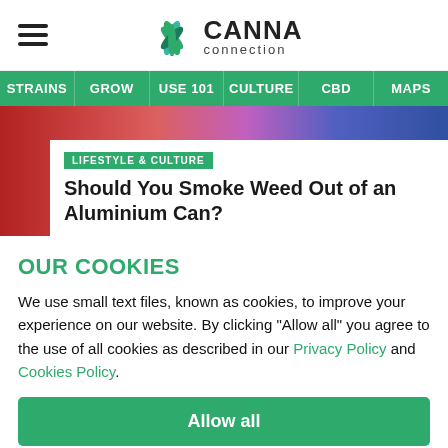CANNA connection
[Figure (logo): Canna Connection logo with green cannabis leaf icon and text 'CANNA connection']
STRAINS | GROW | USE 101 | CULTURE | CBD | MAPS
[Figure (photo): Hero image with colorful background (red, purple, blue gradient)]
LIFESTYLE & CULTURE
Should You Smoke Weed Out of an Aluminium Can?
OUR COOKIES
We use small text files, known as cookies, to improve your experience on our website. By clicking "Allow all" you agree to the use of all cookies as described in our Privacy Policy and Cookies Policy.
Allow all
Reject all
Manage cookies